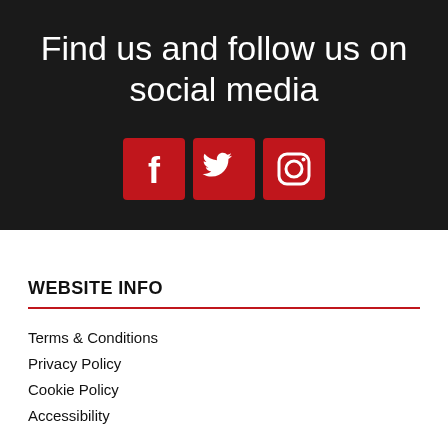Find us and follow us on social media
[Figure (illustration): Three red square social media icons: Facebook (f), Twitter (bird), Instagram (camera outline)]
WEBSITE INFO
Terms & Conditions
Privacy Policy
Cookie Policy
Accessibility
CUSTOMER SUPPORT